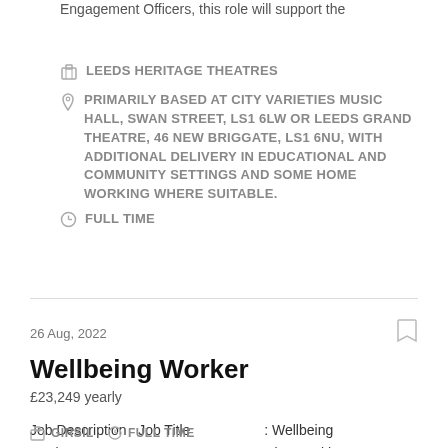Engagement Officers, this role will support the
LEEDS HERITAGE THEATRES
PRIMARILY BASED AT CITY VARIETIES MUSIC HALL, SWAN STREET, LS1 6LW OR LEEDS GRAND THEATRE, 46 NEW BRIGGATE, LS1 6NU, WITH ADDITIONAL DELIVERY IN EDUCATIONAL AND COMMUNITY SETTINGS AND SOME HOME WORKING WHERE SUITABLE.
FULL TIME
26 Aug, 2022
Wellbeing Worker
£23,249 yearly
Job Description   Job Title                    : Wellbeing Worker Team                          : Community, Health
GIRSIL   FULL TIME